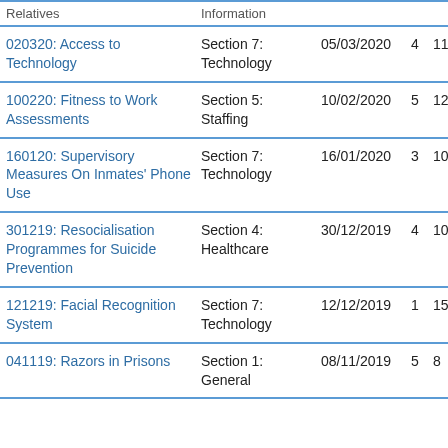|  | Information |  |  |  |
| --- | --- | --- | --- | --- |
| 020320: Access to Technology | Section 7: Technology | 05/03/2020 | 4 | 11 |
| 100220: Fitness to Work Assessments | Section 5: Staffing | 10/02/2020 | 5 | 12 |
| 160120: Supervisory Measures On Inmates' Phone Use | Section 7: Technology | 16/01/2020 | 3 | 10 |
| 301219: Resocialisation Programmes for Suicide Prevention | Section 4: Healthcare | 30/12/2019 | 4 | 10 |
| 121219: Facial Recognition System | Section 7: Technology | 12/12/2019 | 1 | 15 |
| 041119: Razors in Prisons | Section 1: General | 08/11/2019 | 5 | 8 |